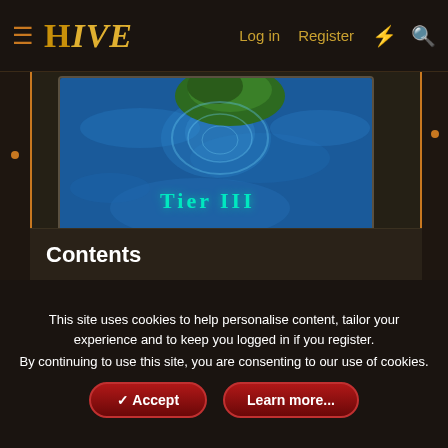HIVE  Log in  Register
[Figure (screenshot): Game screenshot showing blue water scene with 'Tier III' text in teal/cyan color]
[Figure (screenshot): Game screenshot showing blue water scene with three rock/island formations in top row and three sailboats in bottom row]
Contents
This site uses cookies to help personalise content, tailor your experience and to keep you logged in if you register.
By continuing to use this site, you are consenting to our use of cookies.
✓ Accept   Learn more...